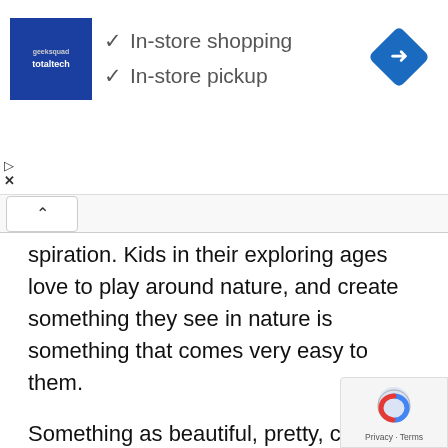[Figure (other): Advertisement banner with Totaltech logo, two checkmarks listing 'In-store shopping' and 'In-store pickup', and a blue navigation diamond icon on the right. Play and close (X) controls on the lower left.]
spiration. Kids in their exploring ages love to play around nature, and create something they see in nature is something that comes very easy to them.
Something as beautiful, pretty, colorful as a flower comes on top of the things nature has to offer. Here are some pretty Flower Crafts ideas for preschoolers will love to create.
Flower crafts & Activities for Kids